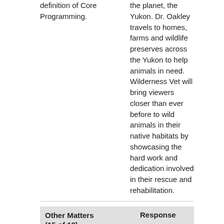definition of Core Programming.
the planet, the Yukon. Dr. Oakley travels to homes, farms and wildlife preserves across the Yukon to help animals in need. Wilderness Vet will bring viewers closer than ever before to wild animals in their native habitats by showcasing the hard work and dedication involved in their rescue and rehabilitation.
| Other Matters (15 of 18) | Response |
| --- | --- |
| Program Title | The Champion Within |
| Origination | Network |
| Days/Times Program Regularly | Sunday 11:30 am, 4.3 Cozi TV |